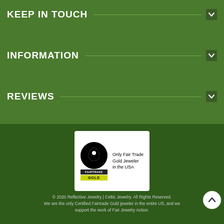KEEP IN TOUCH
INFORMATION
REVIEWS
[Figure (logo): Fairtrade Gold certification badge with logo, FAIRTRADE wordmark, GOLD label, and text 'Only Fair Trade Gold Jeweler in the USA']
© 2020 Reflective Jewelry | Celtic Jewelry. All Rights Reserved. We are the only Certified Fairtrade Gold jeweler in the entire US, and we support the work of Fair Jewelry Action.